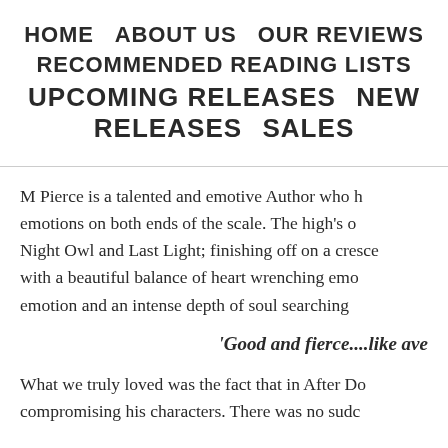HOME   ABOUT US   OUR REVIEWS   RECOMMENDED READING LISTS   UPCOMING RELEASES   NEW RELEASES   SALES
M Pierce is a talented and emotive Author who h emotions on both ends of the scale. The high's o Night Owl and Last Light; finishing off on a cresce with a beautiful balance of heart wrenching emo emotion and an intense depth of soul searching
'Good and fierce....like ave
What we truly loved was the fact that in After Do compromising his characters. There was no sudc